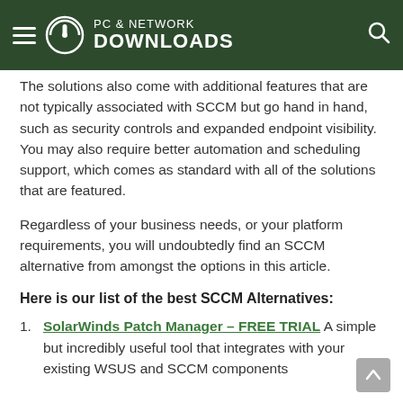PC & Network Downloads
The solutions also come with additional features that are not typically associated with SCCM but go hand in hand, such as security controls and expanded endpoint visibility. You may also require better automation and scheduling support, which comes as standard with all of the solutions that are featured.
Regardless of your business needs, or your platform requirements, you will undoubtedly find an SCCM alternative from amongst the options in this article.
Here is our list of the best SCCM Alternatives:
SolarWinds Patch Manager – FREE TRIAL A simple but incredibly useful tool that integrates with your existing WSUS and SCCM components